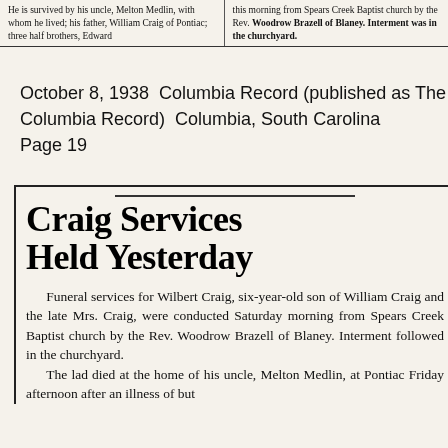He is survived by his uncle, Melton Medlin, with whom he lived; his father, William Craig of Pontiac; three half brothers, Edward
this morning from Spears Creek Baptist church by the Rev. Woodrow Brazell of Blaney. Interment was in the churchyard.
October 8, 1938  Columbia Record (published as The Columbia Record)  Columbia, South Carolina  Page 19
Craig Services Held Yesterday
Funeral services for Wilbert Craig, six-year-old son of William Craig and the late Mrs. Craig, were conducted Saturday morning from Spears Creek Baptist church by the Rev. Woodrow Brazell of Blaney. Interment followed in the churchyard.
The lad died at the home of his uncle, Melton Medlin, at Pontiac Friday afternoon after an illness of but